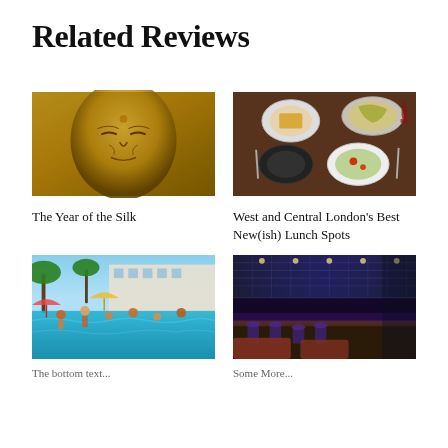Related Reviews
[Figure (photo): Close-up of a golden Buddha face sculpture with carved details]
The Year of the Silk
[Figure (photo): Overhead view of several plates of food on a dark wooden table with salads and dishes]
West and Central London's Best New(ish) Lunch Spots
[Figure (photo): Crowded pool party scene with people swimming and dancing, palm trees and hotel in background]
The bottom text (partially visible)
[Figure (photo): Interior of a dark, moody restaurant/bar with illuminated ceiling, stools, and lounge seating]
Some More (partially visible)